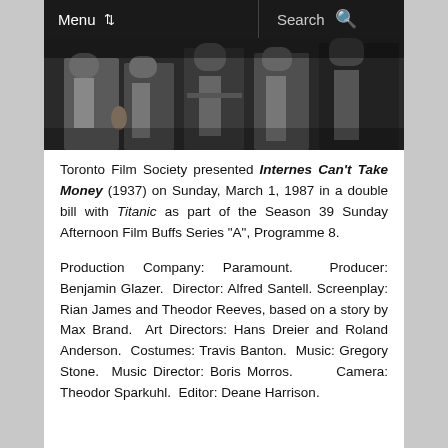Menu  Search
[Figure (photo): Black and white photograph showing people standing, cropped to show bodies from waist down, partially visible upper torsos]
Toronto Film Society presented Internes Can't Take Money (1937) on Sunday, March 1, 1987 in a double bill with Titanic as part of the Season 39 Sunday Afternoon Film Buffs Series "A", Programme 8.
Production Company: Paramount. Producer: Benjamin Glazer. Director: Alfred Santell. Screenplay: Rian James and Theodor Reeves, based on a story by Max Brand. Art Directors: Hans Dreier and Roland Anderson. Costumes: Travis Banton. Music: Gregory Stone. Music Director: Boris Morros. Camera: Theodor Sparkuhl. Editor: Deane Harrison.